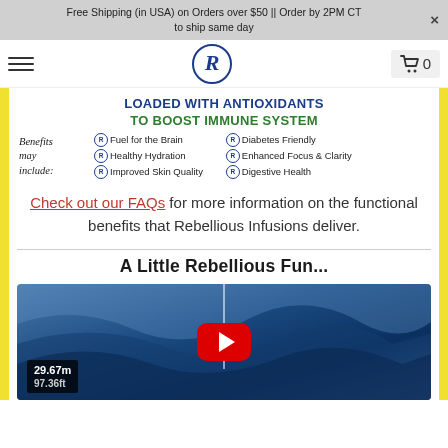Free Shipping (in USA) on Orders over $50 || Order by 2PM CT to ship same day
[Figure (logo): Rebellious Infusions R logo in circle with hamburger menu and cart icon showing 0 items]
[Figure (infographic): Loaded With Antioxidants To Boost Immune System infographic listing benefits: Fuel for the Brain, Healthy Hydration, Improved Skin Quality, Diabetes Friendly, Enhanced Focus & Clarity, Digestive Health]
Check out our FAQs for more information on the functional benefits that Rebellious Infusions deliver.
A Little Rebellious Fun...
[Figure (screenshot): YouTube video thumbnail showing a massive ocean wave with a vertical measuring line and measurement overlay showing 29.67m / 97.36ft and a red YouTube play button]